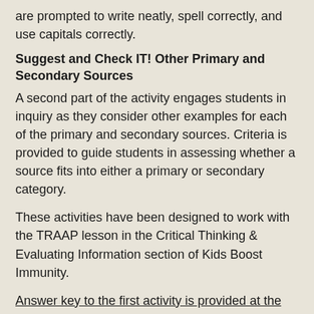are prompted to write neatly, spell correctly, and use capitals correctly.
Suggest and Check IT! Other Primary and Secondary Sources
A second part of the activity engages students in inquiry as they consider other examples for each of the primary and secondary sources. Criteria is provided to guide students in assessing whether a source fits into either a primary or secondary category.
These activities have been designed to work with the TRAAP lesson in the Critical Thinking & Evaluating Information section of Kids Boost Immunity.
Answer key to the first activity is provided at the bottom of this page (must be logged in as a teacher to access).